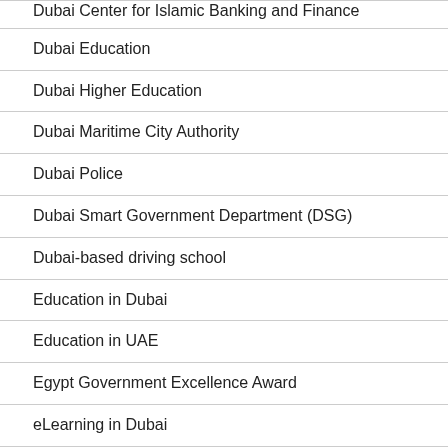Dubai Center for Islamic Banking and Finance
Dubai Education
Dubai Higher Education
Dubai Maritime City Authority
Dubai Police
Dubai Smart Government Department (DSG)
Dubai-based driving school
Education in Dubai
Education in UAE
Egypt Government Excellence Award
eLearning in Dubai
Emirates Aviation University